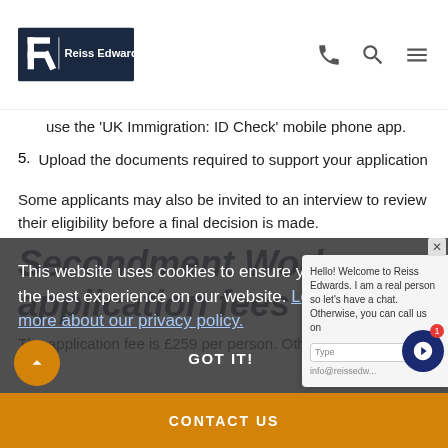Reiss Edwards
use the 'UK Immigration: ID Check' mobile phone app.
5. Upload the documents required to support your application
Some applicants may also be invited to an interview to review their eligibility before a final decision is made.
Secondment Worker application fees
The application fee is £259 per person. Other costs
This website uses cookies to ensure you get the best experience on our website. Learn more about our privacy policy.
CONTACT US